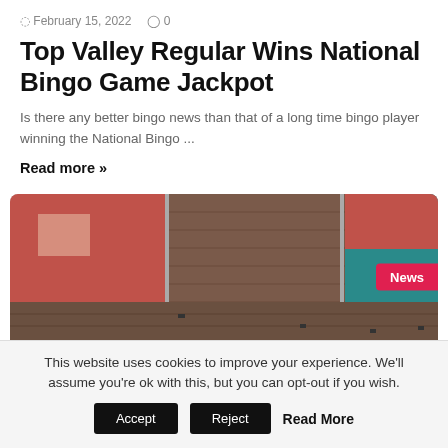February 15, 2022  0
Top Valley Regular Wins National Bingo Game Jackpot
Is there any better bingo news than that of a long time bingo player winning the National Bingo ...
Read more »
[Figure (photo): Exterior photo of a brick and red-painted building with a teal section visible on the right side. A 'News' badge is overlaid on the right side of the image.]
This website uses cookies to improve your experience. We'll assume you're ok with this, but you can opt-out if you wish. Accept  Reject  Read More